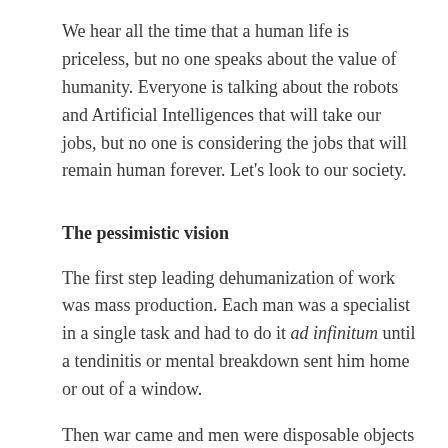We hear all the time that a human life is priceless, but no one speaks about the value of humanity. Everyone is talking about the robots and Artificial Intelligences that will take our jobs, but no one is considering the jobs that will remain human forever. Let's look to our society.
The pessimistic vision
The first step leading dehumanization of work was mass production. Each man was a specialist in a single task and had to do it ad infinitum until a tendinitis or mental breakdown sent him home or out of a window.
Then war came and men were disposable objects against automated machine guns. People used to kill people, but in the 20th century weapons started to kill people